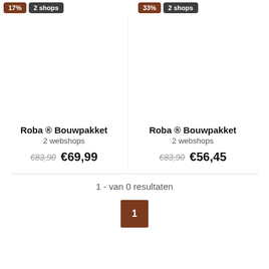17% | 2 shops (left badge row)
33% | 2 shops (right badge row)
Roba ® Bouwpakket
2 webshops
€83,90  €69,99
Roba ® Bouwpakket
2 webshops
€83,90  €56,45
1 - van 0 resultaten
1